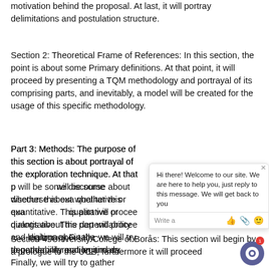motivation behind the proposal. At last, it will portray delimitations and postulation structure.
Section 2: Theoretical Frame of References: In this section, the point is about some Primary definitions. At that point, it will proceed by presenting a TQM methodology and portrayal of its comprising parts, and inevitably, a model will be created for the usage of this specific methodology.
Part 3: Methods: The purpose of this section is about portrayal of the exploration technique. At that point, there will be some discourse about whether this examination is qualitative or quantitative. This part will proceed with dialogs about the dependability and legitimacy of the study. Finally, we will try to gather information and data…
Section 4: University College of Borås: This section will begin by a prologue to the UCB, furthermore it will proceed…